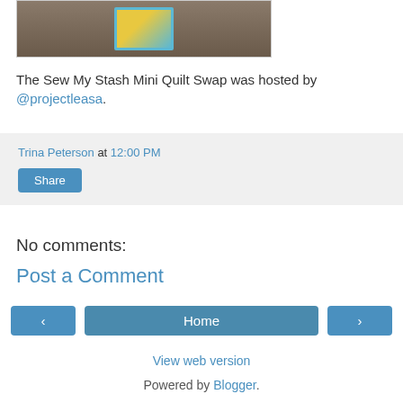[Figure (photo): Photo of a quilt mini on a wooden background, partially cropped at top]
The Sew My Stash Mini Quilt Swap was hosted by @projectleasa.
Trina Peterson at 12:00 PM
Share
No comments:
Post a Comment
< Home >
View web version
Powered by Blogger.